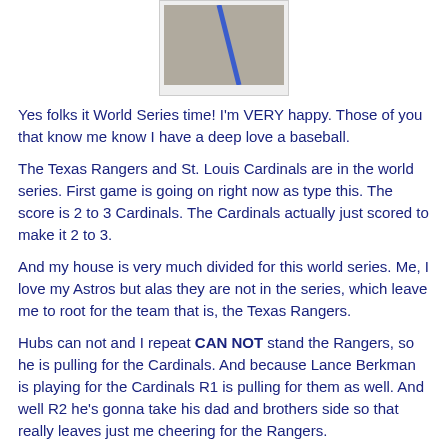[Figure (photo): Partial photo showing a blue diagonal line on a gray/beige surface, cropped at the top of the page]
Yes folks it World Series time! I'm VERY happy. Those of you that know me know I have a deep love a baseball.
The Texas Rangers and St. Louis Cardinals are in the world series. First game is going on right now as type this. The score is 2 to 3 Cardinals. The Cardinals actually just scored to make it 2 to 3.
And my house is very much divided for this world series. Me, I love my Astros but alas they are not in the series, which leave me to root for the team that is, the Texas Rangers.
Hubs can not and I repeat CAN NOT stand the Rangers, so he is pulling for the Cardinals. And because Lance Berkman is playing for the Cardinals R1 is pulling for them as well. And well R2 he's gonna take his dad and brothers side so that really leaves just me cheering for the Rangers.